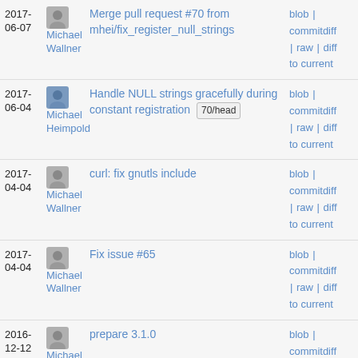2017-06-07 | Michael Wallner | Merge pull request #70 from mhei/fix_register_null_strings | blob | commitdiff | raw | diff to current
2017-06-04 | Michael Heimpold | Handle NULL strings gracefully during constant registration 70/head | blob | commitdiff | raw | diff to current
2017-04-04 | Michael Wallner | curl: fix gnutls include | blob | commitdiff | raw | diff to current
2017-04-04 | Michael Wallner | Fix issue #65 | blob | commitdiff | raw | diff to current
2016-12-12 | Michael Wallner | prepare 3.1.0 | blob | commitdiff | raw | diff to current
2016- | (avatar) | fix build issues with SSL, NSS etc | blob |